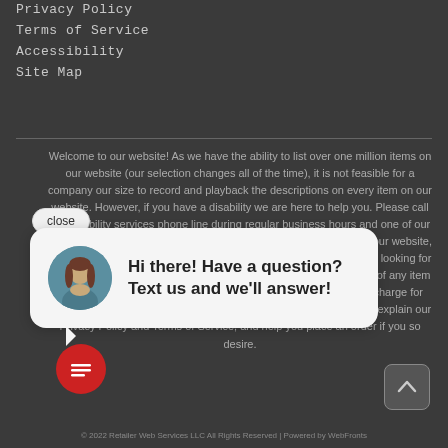Privacy Policy
Terms of Service
Accessibility
Site Map
Welcome to our website! As we have the ability to list over one million items on our website (our selection changes all of the time), it is not feasible for a company our size to record and playback the descriptions on every item on our website. However, if you have a disability we are here to help you. Please call our disability services phone line during regular business hours and one of our kind and friendly personal shoppers will help you navigate through our website, help conduct advanced searches, help you choose the item you are looking for with the specifications you are seeking, read you the specifications of any item and consult with you about the products themselves. There is no charge for the help of this personal service. Finally, your personal shopper will explain our Privacy Policy and Terms of Service, and help you place an order if you so desire.
[Figure (screenshot): Chat popup with close button, avatar of a woman, and text: Hi there! Have a question? Text us and we'll answer!]
[Figure (other): Red circular chat icon button with message lines icon]
[Figure (other): Back to top button (upward chevron) in dark rounded square]
© 2022 Retailer Web Services LLC All Rights Reserved | Powered by WebFronts